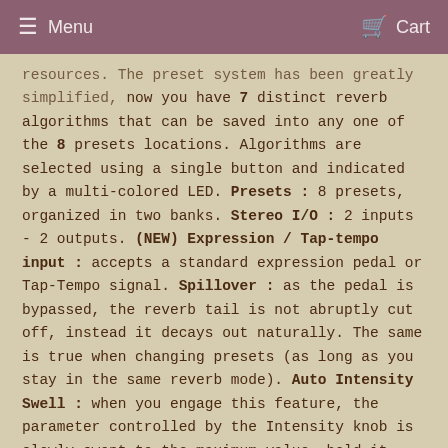Menu   Cart
resources. The preset system has been greatly simplified, now you have 7 distinct reverb algorithms that can be saved into any one of the 8 presets locations. Algorithms are selected using a single button and indicated by a multi-colored LED. Presets : 8 presets, organized in two banks. Stereo I/O : 2 inputs - 2 outputs. (NEW) Expression / Tap-tempo input : accepts a standard expression pedal or Tap-Tempo signal. Spillover : as the pedal is bypassed, the reverb tail is not abruptly cut off, instead it decays out naturally. The same is true when changing presets (as long as you stay in the same reverb mode). Auto Intensity Swell : when you engage this feature, the parameter controlled by the Intensity knob is slowly swept to the maximum value, hold it there, and then swept back to the original setting. Used judiciously, this feature can introduce dynamic elements to the soundscape - watch the demo videos to see